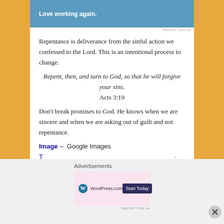[Figure (screenshot): Blue banner advertisement with white text 'Love working again.']
REPORT THIS AD
Repentance is deliverance from the sinful action we confessed to the Lord. This is an intentional process to change.
Repent, then, and turn to God, so that he will forgive your sins.
Acts 3:19
Don't break promises to God. He knows when we are sincere and when we are asking out of guilt and not repentance.
Image – Google Images
Advertisements
[Figure (screenshot): WordPress.com advertisement with Start Today button on pink background]